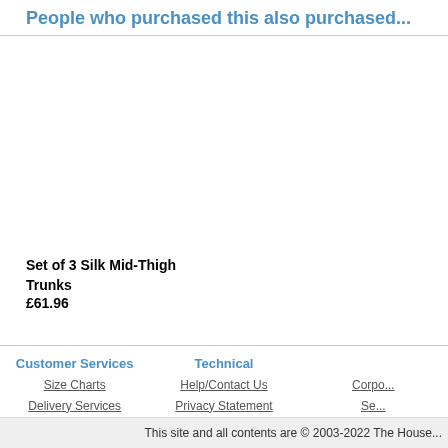People who purchased this also purchased...
Set of 3 Silk Mid-Thigh Trunks
£61.96
Customer Services
Size Charts
Delivery Services
Gift Wrapping Service
Returns Policy
Gift Certificates
Technical
Help/Contact Us
Privacy Statement
Terms and Conditions
Corpo...
Se...
View c...
This site and all contents are © 2003-2022 The House...